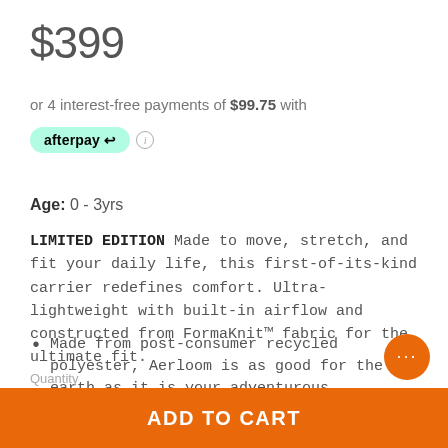$399
or 4 interest-free payments of $99.75 with afterpay
Age: 0 - 3yrs
LIMITED EDITION Made to move, stretch, and fit your daily life, this first-of-its-kind carrier redefines comfort. Ultra-lightweight with built-in airflow and constructed from FormaKnit™ fabric for the ultimate fit.
Made from post-consumer recycled polyester, Aerloom is as good for the earth as it is your adventurous lifestyle
ErgoPromise Guarantee
Once this colour sells out, it won't be available again
Quantity
ADD TO CART